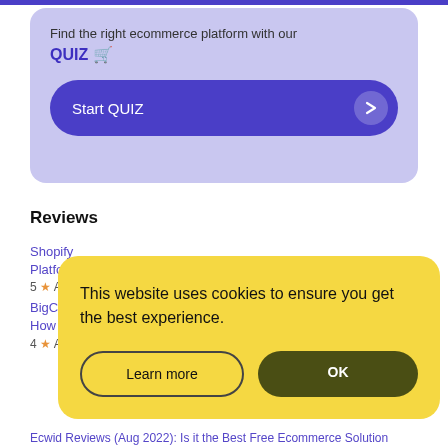[Figure (illustration): Shopping bag 3D illustration in blue/purple color with teal handle and coins at the bottom, positioned top-right of the quiz banner]
Find the right ecommerce platform with our
QUIZ 🛒
Start QUIZ →
Reviews
Shopify
Platform
5 ⭐ A
BigCo
How D
4 ⭐ A
This website uses cookies to ensure you get the best experience.
Learn more
OK
Ecwid Reviews (Aug 2022): Is it the Best Free Ecommerce Solution